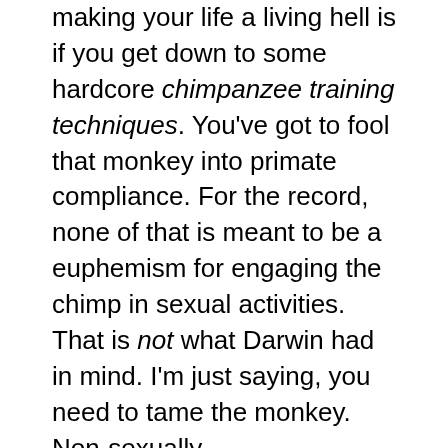making your life a living hell is if you get down to some hardcore chimpanzee training techniques. You've got to fool that monkey into primate compliance. For the record, none of that is meant to be a euphemism for engaging the chimp in sexual activities. That is not what Darwin had in mind. I'm just saying, you need to tame the monkey. Non-sexually.
Same goes with taming your writer brain. Your mileage may forever vary, but me? I'm constantly my own worst enemy in terms of Getting The Work Done, and that's just not good eats. You need to start tricking yourself, giving a leg-up here and there to get you where you need to be day in and day out. And so I give unto you: STUPID